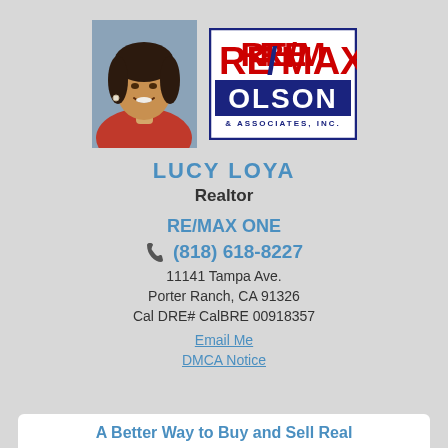[Figure (photo): Headshot photo of Lucy Loya, a woman with dark hair wearing a red jacket, smiling]
[Figure (logo): RE/MAX Olson & Associates, Inc. logo with red RE/MAX text on top and blue OLSON block below]
LUCY LOYA
Realtor
RE/MAX ONE
(818) 618-8227
11141 Tampa Ave.
Porter Ranch, CA 91326
Cal DRE# CalBRE 00918357
Email Me
DMCA Notice
A Better Way to Buy and Sell Real